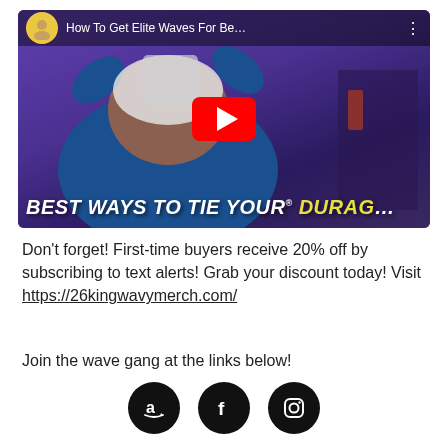[Figure (screenshot): YouTube video thumbnail showing a person tying a durag. Title bar reads 'How To Get Elite Waves For Be...' with a channel avatar. Large red YouTube play button in center. Bottom text overlay reads 'BEST WAYS TO TIE YOUR DURAG...' in bold italic white and yellow letters.]
Don't forget! First-time buyers receive 20% off by subscribing to text alerts! Grab your discount today! Visit https://26kingwavymerch.com/
Join the wave gang at the links below!
[Figure (illustration): Three black circular social media icons: Amazon, Facebook, and Instagram]